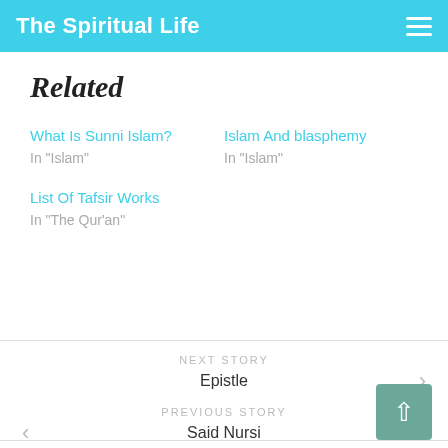The Spiritual Life
Related
What Is Sunni Islam?
In "Islam"
Islam And blasphemy
In "Islam"
List Of Tafsir Works
In "The Qur'an"
NEXT STORY
Epistle
PREVIOUS STORY
Said Nursi